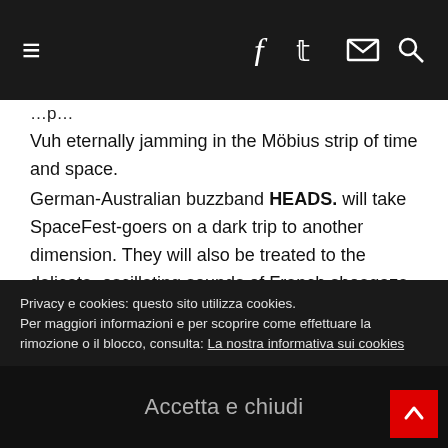≡  f  𝕥  ✉  🔍
Vuh eternally jamming in the Möbius strip of time and space.
German-Australian buzzband HEADS. will take SpaceFest-goers on a dark trip to another dimension. They will also be treated to the delicate, oscillating sounds of French shoegaze-dreampop band MARBLE ARCH and repetition-laden reverberations of Santiago, Chile-based psychedelic collective CHICOS DE NAZCA. Kyiv-based psychedelic rock band STRAYTONES weave in their garage-rock stylings, with heavy influences of surf rock, 60's garage rockers and hippies, as well as modern neo-psychedelic vibes.
Privacy e cookies: questo sito utilizza cookies. Per maggiori informazioni e per scoprire come effettuare la rimozione o il blocco, consulta: La nostra informativa sui cookies
Accetta e chiudi